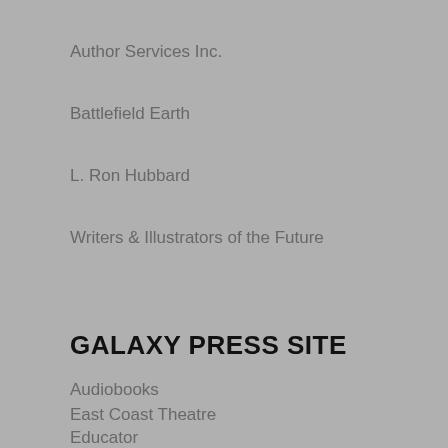Author Services Inc.
Battlefield Earth
L. Ron Hubbard
Writers & Illustrators of the Future
GALAXY PRESS SITE
Audiobooks
East Coast Theatre
Educator
L Ron Hubbard Books
Newsroom